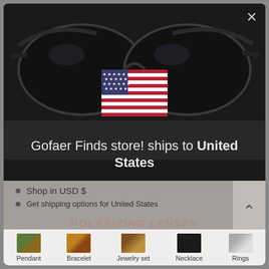[Figure (screenshot): Screenshot of a mobile e-commerce app showing sunglasses product page with a country selection popup. The popup shows a US flag, text 'Gofaer Finds store! ships to United States', bullet points about shopping in USD and shipping options, a 'Shop now' dark red button, quantity controls (- 1 +), ADD TO CART button, and 'Change shipping country' link. Bottom navigation shows Pendant, Bracelet, Jewelry set, Necklace, Rings categories.]